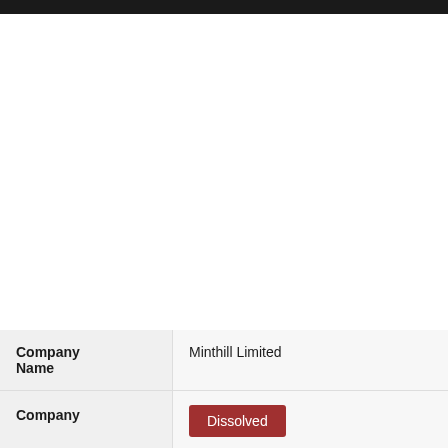| Field | Value |
| --- | --- |
| Company Name | Minthill Limited |
| Company Status | Dissolved |